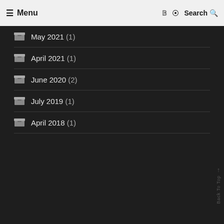≡ Menu   🐦 📌 Search 🔍
May 2021 (1)
April 2021 (1)
June 2020 (2)
July 2019 (1)
April 2018 (1)